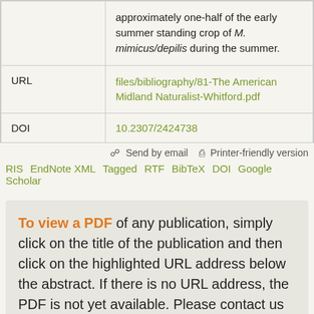|  | approximately one-half of the early summer standing crop of M. mimicus/depilis during the summer. |
| URL | files/bibliography/81-The American Midland Naturalist-Whitford.pdf |
| DOI | 10.2307/2424738 |
Send by email   Printer-friendly version
RIS  EndNote XML  Tagged  RTF  BibTeX  DOI  Google Scholar
To view a PDF of any publication, simply click on the title of the publication and then click on the highlighted URL address below the abstract. If there is no URL address, the PDF is not yet available. Please contact us for access to the PDF if required.